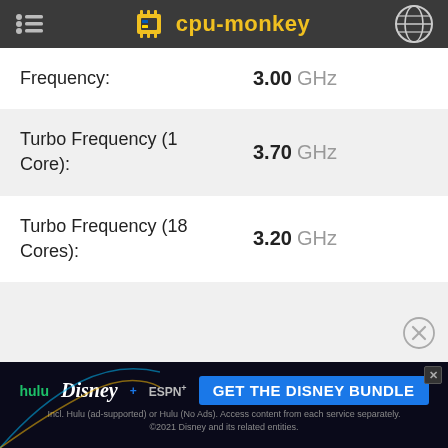cpu-monkey
| Specification | Value |
| --- | --- |
| Frequency: | 3.00 GHz |
| Turbo Frequency (1 Core): | 3.70 GHz |
| Turbo Frequency (18 Cores): | 3.20 GHz |
[Figure (screenshot): Disney Bundle advertisement banner showing Hulu, Disney+, ESPN+ logos with 'GET THE DISNEY BUNDLE' call to action button]